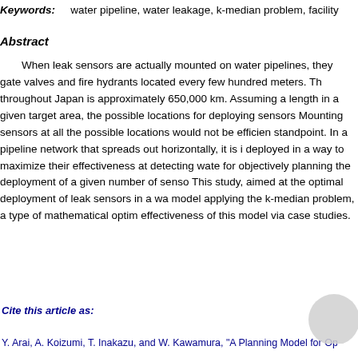Keywords:   water pipeline, water leakage, k-median problem, facility
Abstract
When leak sensors are actually mounted on water pipelines, they gate valves and fire hydrants located every few hundred meters. Th throughout Japan is approximately 650,000 km. Assuming a length in a given target area, the possible locations for deploying sensors Mounting sensors at all the possible locations would not be efficien standpoint. In a pipeline network that spreads out horizontally, it is i deployed in a way to maximize their effectiveness at detecting wate for objectively planning the deployment of a given number of senso This study, aimed at the optimal deployment of leak sensors in a wa model applying the k-median problem, a type of mathematical optim effectiveness of this model via case studies.
Cite this article as:
Y. Arai, A. Koizumi, T. Inakazu, and W. Kawamura, "A Planning Model for Optima